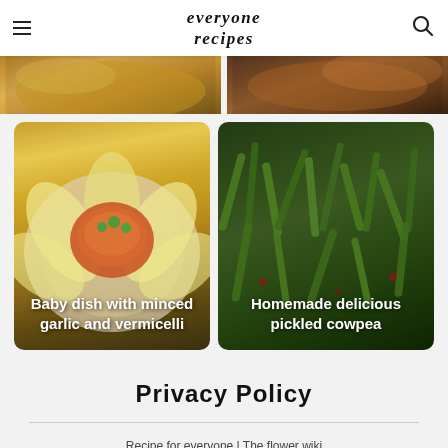everyone recipes
[Figure (photo): Partial food photo at top left (cropped)]
[Figure (photo): Partial food photo at top right (cropped)]
[Figure (photo): Baby dish with minced garlic and vermicelli — a plate with cabbage leaves and minced garlic red sauce topping]
Baby dish with minced garlic and vermicelli
[Figure (photo): Homemade delicious pickled cowpea — green beans in a dark pickling liquid]
Homemade delicious pickled cowpea
Privacy Policy
Recipe for everyone | The flower wiki